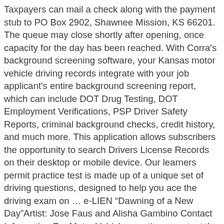Taxpayers can mail a check along with the payment stub to PO Box 2902, Shawnee Mission, KS 66201. The queue may close shortly after opening, once capacity for the day has been reached. With Corra's background screening software, your Kansas motor vehicle driving records integrate with your job applicant's entire background screening report, which can include DOT Drug Testing, DOT Employment Verifications, PSP Driver Safety Reports, criminal background checks, credit history, and much more. This application allows subscribers the opportunity to search Drivers License Records on their desktop or mobile device. Our learners permit practice test is made up of a unique set of driving questions, designed to help you ace the driving exam on … e-LIEN “Dawning of a New Day”Artist: Jose Faus and Alisha Gambino Contact Information For Motor Vehicle questions, contact the Kansas Division of Vehicles. Skip to search Official website of the State of Kansas Get Answers Search Kansas.gov Clear Search Your Answers execute search of Kansas.gov All of Kansas.gov execute